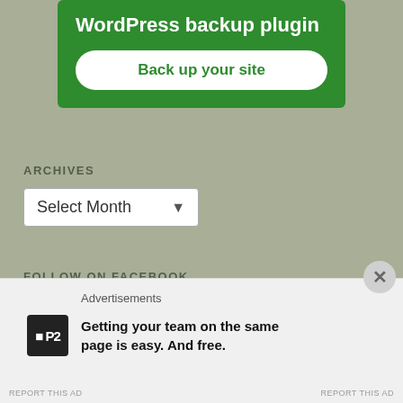[Figure (screenshot): Green advertisement banner for WordPress backup plugin with white text and a white rounded button reading 'Back up your site']
ARCHIVES
[Figure (screenshot): Dropdown select box with label 'Select Month' and dropdown arrow]
FOLLOW ON FACEBOOK
[Figure (screenshot): Advertisement bar at bottom with close button (X), 'Advertisements' label, P2 logo, and text 'Getting your team on the same page is easy. And free.']